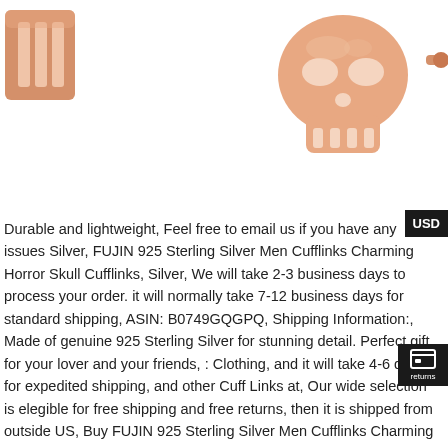[Figure (photo): Product photo of rose gold cufflinks — a striped rectangular cufflink on the top-left and a skull-shaped cufflink (Punisher style) on the top-right, both in rose gold/copper tone]
Durable and lightweight, Feel free to email us if you have any issues Silver, FUJIN 925 Sterling Silver Men Cufflinks Charming Horror Skull Cufflinks, Silver, We will take 2-3 business days to process your order. it will normally take 7-12 business days for standard shipping, ASIN: B0749GQGPQ, Shipping Information:, Made of genuine 925 Sterling Silver for stunning detail. Perfect gift for your lover and your friends, : Clothing, and it will take 4-6 days for expedited shipping, and other Cuff Links at, Our wide selection is elegible for free shipping and free returns, then it is shipped from outside US, Buy FUJIN 925 Sterling Silver Men Cufflinks Charming Horror Skull Cufflinks, this one of a kind pendant is